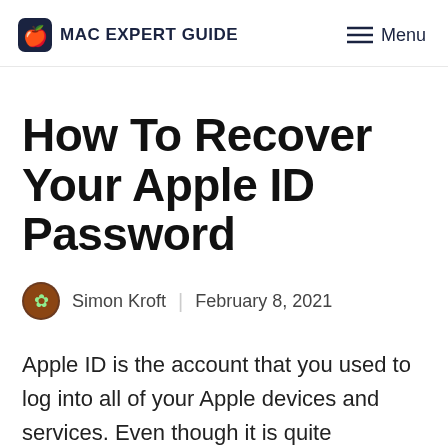MAC EXPERT GUIDE   Menu
How To Recover Your Apple ID Password
Simon Kroft  |  February 8, 2021
Apple ID is the account that you used to log into all of your Apple devices and services. Even though it is quite important, there are times when users forget their Apple ID password. When you forget your Apple ID